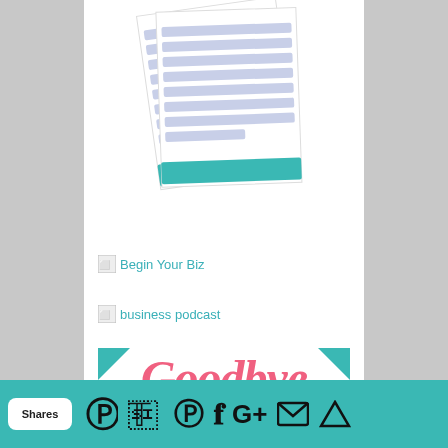[Figure (illustration): Tilted worksheet/form pages with blue striped rows and a teal accent at bottom]
[Figure (illustration): Broken image placeholder labeled 'Begin Your Biz' with teal link text]
[Figure (illustration): Broken image placeholder labeled 'business podcast' with teal link text]
[Figure (illustration): Goodbye 9 to 5 promotional card with script text, dotted line, photo of woman, and cheat sheet offer text]
Shares | Pinterest | Twitter | Facebook | Google+ | Email | Crown icon